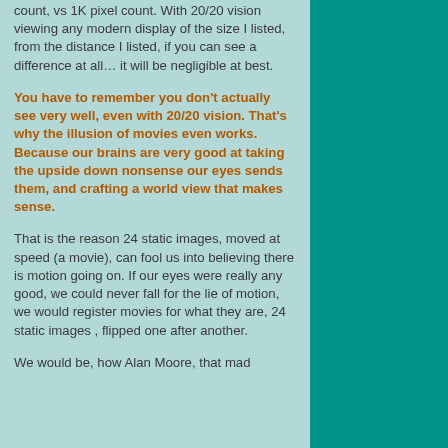count, vs 1K pixel count. With 20/20 vision viewing any modern display of the size I listed, from the distance I listed, if you can see a difference at all… it will be negligible at best.
You have to remember you don't actually see very well, even with 20/20 vision. That's why the illusion of movies even works. Because our brains are very good at taking the upside down nonsense our eyes sends them, and crafting a world view that makes sense.
That is the reason 24 static images, moved at speed (a movie), can fool us into believing there is motion going on. If our eyes were really any good, we could never fall for the lie of motion, we would register movies for what they are, 24 static images , flipped one after another.
We would be, how Alan Moore, that mad